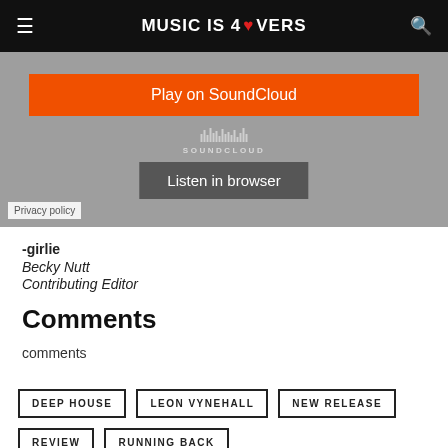≡  MUSIC IS 4 LOVERS  🔍
[Figure (screenshot): SoundCloud embedded player with orange 'Play on SoundCloud' button and gray 'Listen in browser' button on a gray background with waveform and Privacy policy label]
-girlie
Becky Nutt
Contributing Editor
Comments
comments
DEEP HOUSE
LEON VYNEHALL
NEW RELEASE
REVIEW
RUNNING BACK